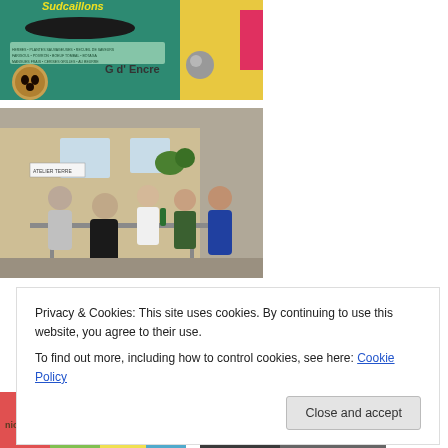[Figure (photo): Close-up photo of a colorful sign reading something with 'G d' Encre' visible, with decorative painted boards and a cookie-like circular object in the lower left]
[Figure (photo): Group of people sitting around outdoor tables in a courtyard, with a sign 'ATELIER TERRE' on the wall behind them and brick buildings in the background]
Privacy & Cookies: This site uses cookies. By continuing to use this website, you agree to their use.
To find out more, including how to control cookies, see here: Cookie Policy
[Figure (photo): Partial view of colorful artwork or painted panels at the bottom left]
[Figure (photo): Partial view of a dark-toned photo at the bottom right]